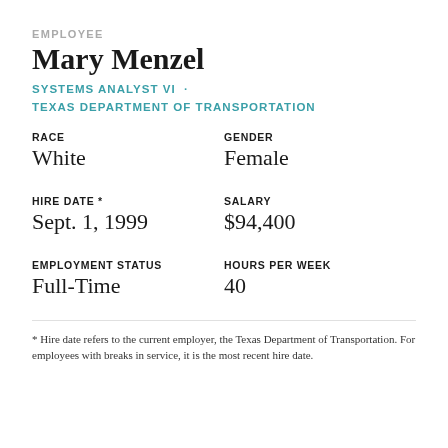EMPLOYEE
Mary Menzel
SYSTEMS ANALYST VI · TEXAS DEPARTMENT OF TRANSPORTATION
RACE: White
GENDER: Female
HIRE DATE *: Sept. 1, 1999
SALARY: $94,400
EMPLOYMENT STATUS: Full-Time
HOURS PER WEEK: 40
* Hire date refers to the current employer, the Texas Department of Transportation. For employees with breaks in service, it is the most recent hire date.